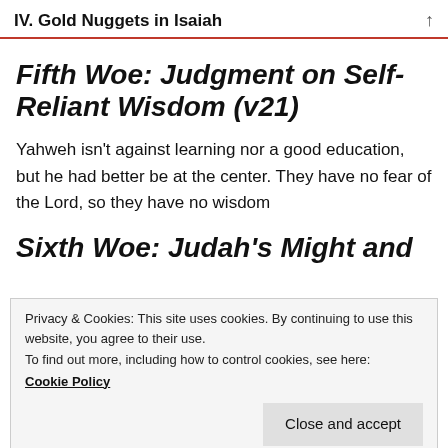IV. Gold Nuggets in Isaiah
Fifth Woe: Judgment on Self-Reliant Wisdom (v21)
Yahweh isn’t against learning nor a good education, but he had better be at the center. They have no fear of the Lord, so they have no wisdom
Sixth Woe: Judah’s Might and
Privacy & Cookies: This site uses cookies. By continuing to use this website, you agree to their use.
To find out more, including how to control cookies, see here:
Cookie Policy
Close and accept
plastered at the bar’l (Lecture 2)